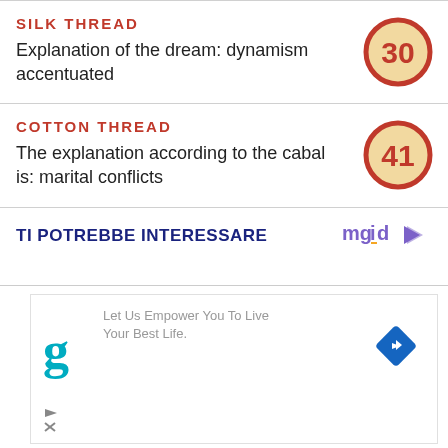SILK THREAD
Explanation of the dream: dynamism accentuated
[Figure (other): Circle badge with number 30, dark red border on cream background]
COTTON THREAD
The explanation according to the cabal is: marital conflicts
[Figure (other): Circle badge with number 41, dark red border on cream background]
TI POTREBBE INTERESSARE
[Figure (logo): mgid logo with play arrow icon]
[Figure (other): Advertisement area: Let Us Empower You To Live Your Best Life. with Goodreads g logo and navigation arrow]